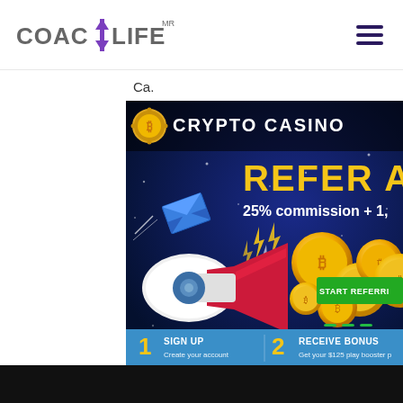[Figure (logo): CoachLife logo with purple arrow icon and hamburger menu]
Ca.
[Figure (screenshot): Crypto Casino referral program banner ad. Shows 'REFER A F...' headline in yellow, '25% commission + 1,...' text in white, megaphone graphic, gold coins, lightning bolts, START REFERRING green button, numbered steps: 1 SIGN UP Create your account, 2 RECEIVE BONUS Get your $125 play booster p...]